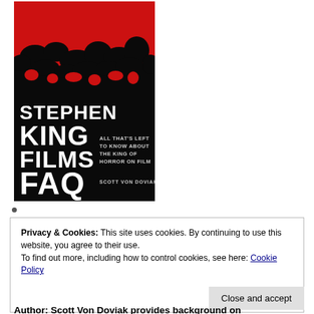[Figure (illustration): Book cover of 'Stephen King Films FAQ' by Scott Von Doviak. Black background with red and black paint splatter at top. White bold text reads 'STEPHEN KING FILMS FAQ'. Smaller white text reads 'ALL THAT'S LEFT TO KNOW ABOUT THE KING OF HORROR ON FILM'. Author name 'SCOTT VON DOVIAK' at bottom.]
Privacy & Cookies: This site uses cookies. By continuing to use this website, you agree to their use. To find out more, including how to control cookies, see here: Cookie Policy
Close and accept
Author: Scott Von Doviak provides background on